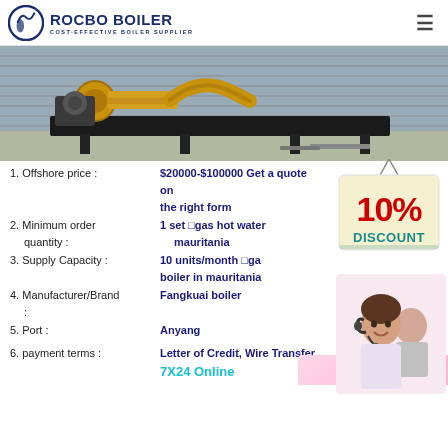ROCBO BOILER - COST-EFFECTIVE BOILER SUPPLIER
[Figure (photo): Industrial boiler equipment photo showing yellow pipes and black metal components in a warehouse/industrial setting]
[Figure (infographic): 10% DISCOUNT badge sign in red and teal colors]
[Figure (photo): Customer service representative wearing headset, smiling, with another person in background]
1. Offshore price : $20000-$100000 Get a quote on the right form
2. Minimum order quantity : 1 set gas hot water mauritania
3. Supply Capacity : 10 units/month gas boiler in mauritania
4. Manufacturer/Brand : Fangkuai boiler
5. Port : Anyang
6. payment terms : Letter of Credit, Wire Transfer, 7X24 Online